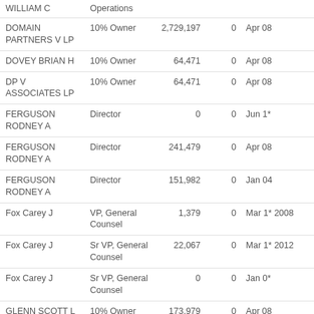| Name | Title | Shares | Options | Date |
| --- | --- | --- | --- | --- |
| WILLIAM C | Operations |  |  |  |
| DOMAIN PARTNERS V LP | 10% Owner | 2,729,197 | 0 | Apr 08 |
| DOVEY BRIAN H | 10% Owner | 64,471 | 0 | Apr 08 |
| DP V ASSOCIATES LP | 10% Owner | 64,471 | 0 | Apr 08 |
| FERGUSON RODNEY A | Director | 0 | 0 | Jun 1* |
| FERGUSON RODNEY A | Director | 241,479 | 0 | Apr 08 |
| FERGUSON RODNEY A | Director | 151,982 | 0 | Jan 04 |
| Fox Carey J | VP, General Counsel | 1,379 | 0 | Mar 1* 2008 |
| Fox Carey J | Sr VP, General Counsel | 22,067 | 0 | Mar 1* 2012 |
| Fox Carey J | Sr VP, General Counsel | 0 | 0 | Jan 0* |
| GLENN SCOTT L | 10% Owner | 173,979 | 0 | Apr 08 |
| GOWEN MAXINE | Director | 20,000 | 0 | Apr 07 |